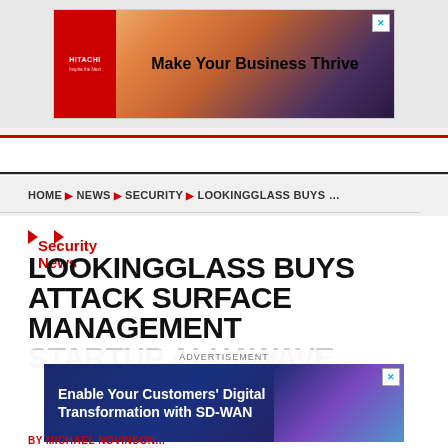[Figure (advertisement): Hitachi banner ad: red Hitachi logo on left, center text 'Make Your Business Thrive', mountain climbers silhouette on right against sunset background, X close button top right]
[Figure (advertisement): SD-WAN bottom banner ad: dark navy blue background, white bold text 'Enable Your Customers' Digital Transformation with SD-WAN', colorful graphic on right, X close button top right, 'ADVERTISEMENT' label above]
HOME ▶ NEWS ▶ SECURITY ▶ LOOKINGGLASS BUYS …
Security News ▶
LOOKINGGLASS BUYS ATTACK SURFACE MANAGEMENT STARTUP ALHAWAVE
BY MICHAEL NOVINSON...